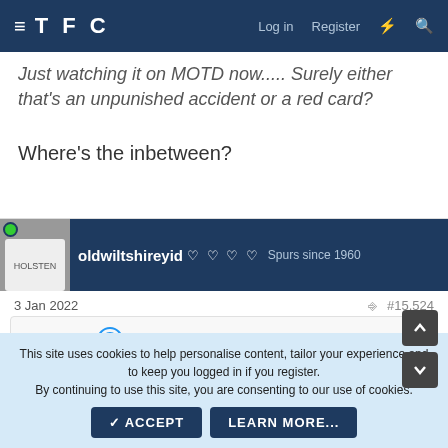TFC   Log in   Register
Just watching it on MOTD now..... Surely either that's an unpunished accident or a red card?
Where's the inbetween?
oldwiltshireyid 🏆🏆🏆🏆 Spurs since 1960
3 Jan 2022   #15,524
Airfixx said:
Just watching it on MOTD now..... Surely either that's an unpunished
This site uses cookies to help personalise content, tailor your experience and to keep you logged in if you register.
By continuing to use this site, you are consenting to our use of cookies.